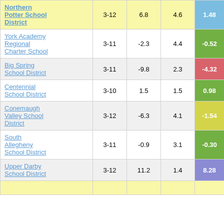| School/District | Grades | Col3 | Col4 | Value |
| --- | --- | --- | --- | --- |
| Northern Potter School District | 3-12 | 6.8 | 4.6 | 1.48 |
| York Academy Regional Charter School | 3-11 | -2.3 | 4.4 | -0.52 |
| Big Spring School District | 3-11 | -9.8 | 2.3 | -4.32 |
| Centennial School District | 3-10 | 1.5 | 1.5 | 0.98 |
| Conemaugh Valley School District | 3-12 | -6.3 | 4.1 | -1.54 |
| South Allegheny School District | 3-11 | -0.9 | 3.1 | -0.30 |
| Upper Darby School District | 3-12 | 11.2 | 1.4 | 8.28 |